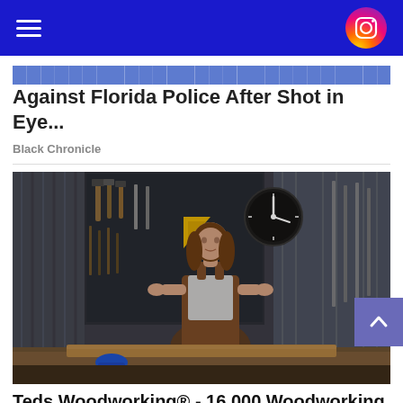Navigation header with hamburger menu and Instagram icon
Against Florida Police After Shot in Eye...
Black Chronicle
[Figure (photo): Woman in brown leather apron standing at a workbench in a woodworking workshop, with tools hanging on a pegboard wall, corrugated metal walls, and a clock in the background]
Teds Woodworking® - 16,000 Woodworking Plans & Projects With Vide...
woodworking | Sponsored